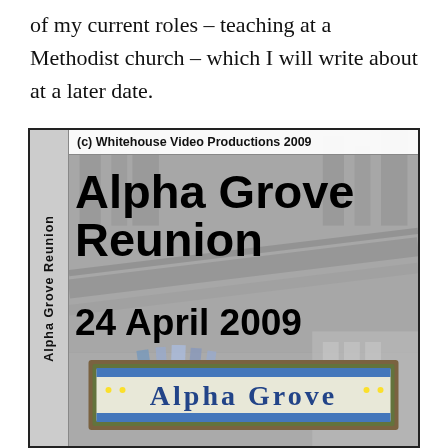of my current roles – teaching at a Methodist church – which I will write about at a later date.
[Figure (photo): DVD cover for the Alpha Grove Reunion event on 24 April 2009, produced by Whitehouse Video Productions 2009. Left spine reads 'Alpha Grove Reunion'. Main panel shows 'Alpha Grove Reunion' and '24 April 2009' in bold black text over a greyscale aerial city background. Bottom portion shows a decorative sign reading 'Alpha Grove'.]